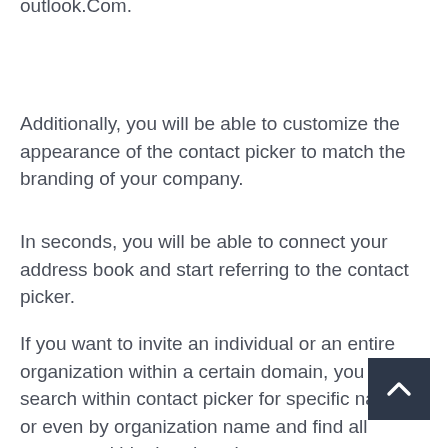outlook.Com.
Additionally, you will be able to customize the appearance of the contact picker to match the branding of your company.
In seconds, you will be able to connect your address book and start referring to the contact picker.
If you want to invite an individual or an entire organization within a certain domain, you can search within contact picker for specific names or even by organization name and find all contacts within that domain.